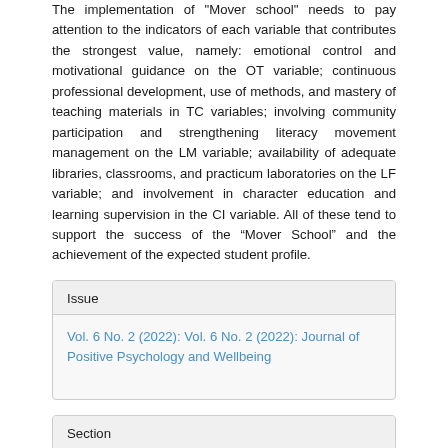The implementation of "Mover school" needs to pay attention to the indicators of each variable that contributes the strongest value, namely: emotional control and motivational guidance on the OT variable; continuous professional development, use of methods, and mastery of teaching materials in TC variables; involving community participation and strengthening literacy movement management on the LM variable; availability of adequate libraries, classrooms, and practicum laboratories on the LF variable; and involvement in character education and learning supervision in the CI variable. All of these tend to support the success of the “Mover School” and the achievement of the expected student profile.
| Issue |
| --- |
| Vol. 6 No. 2 (2022): Vol. 6 No. 2 (2022): Journal of Positive Psychology and Wellbeing |
| Section |
| --- |